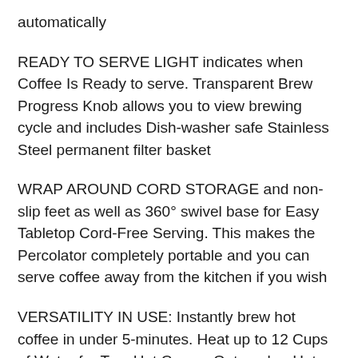automatically
READY TO SERVE LIGHT indicates when Coffee Is Ready to serve. Transparent Brew Progress Knob allows you to view brewing cycle and includes Dish-washer safe Stainless Steel permanent filter basket
WRAP AROUND CORD STORAGE and non-slip feet as well as 360° swivel base for Easy Tabletop Cord-Free Serving. This makes the Percolator completely portable and you can serve coffee away from the kitchen if you wish
VERSATILITY IN USE: Instantly brew hot coffee in under 5-minutes. Heat up to 12 Cups of Water for Tea, Hot Cocoa, Oatmeal or Hot Cereals